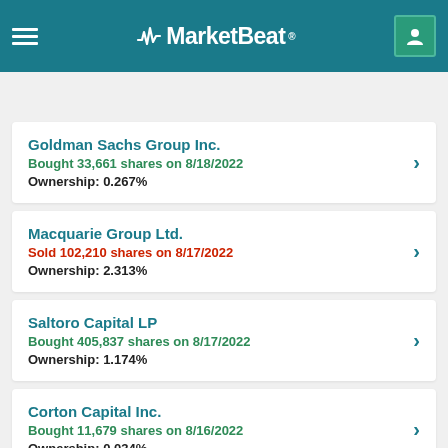MarketBeat
PROFILE | ANALYST RATINGS | CHART | COMPETITORS | DIVIDEND | EARNINGS
Goldman Sachs Group Inc.
Bought 33,661 shares on 8/18/2022
Ownership: 0.267%
Macquarie Group Ltd.
Sold 102,210 shares on 8/17/2022
Ownership: 2.313%
Saltoro Capital LP
Bought 405,837 shares on 8/17/2022
Ownership: 1.174%
Corton Capital Inc.
Bought 11,679 shares on 8/16/2022
Ownership: 0.034%